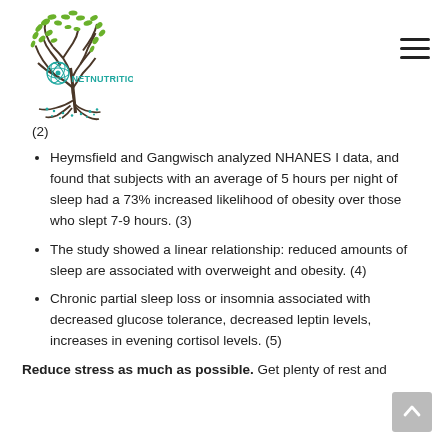[Figure (logo): NetNutritionist logo: tree with green leaves and teal atom symbol, with text NETNUTRITIONIST in teal]
(2)
Heymsfield and Gangwisch analyzed NHANES I data, and found that subjects with an average of 5 hours per night of sleep had a 73% increased likelihood of obesity over those who slept 7-9 hours. (3)
The study showed a linear relationship: reduced amounts of sleep are associated with overweight and obesity. (4)
Chronic partial sleep loss or insomnia associated with decreased glucose tolerance, decreased leptin levels, increases in evening cortisol levels. (5)
Reduce stress as much as possible. Get plenty of rest and